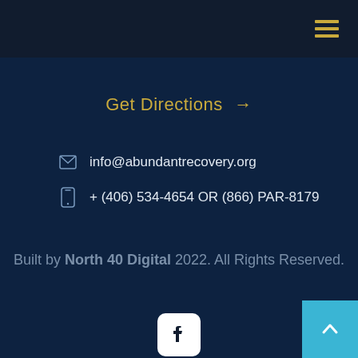Navigation menu (hamburger icon)
Get Directions →
info@abundantrecovery.org
+ (406) 534-4654 OR (866) PAR-8179
Built by North 40 Digital 2022. All Rights Reserved.
[Figure (logo): Facebook icon - white rounded square with F logo]
[Figure (logo): YouTube icon - white rounded rectangle with play button]
[Figure (logo): Twitter icon - white rounded square with bird logo]